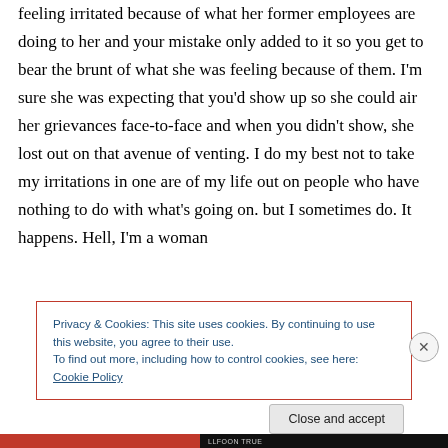feeling irritated because of what her former employees are doing to her and your mistake only added to it so you get to bear the brunt of what she was feeling because of them. I’m sure she was expecting that you’d show up so she could air her grievances face-to-face and when you didn’t show, she lost out on that avenue of venting. I do my best not to take my irritations in one are of my life out on people who have nothing to do with what’s going on. but I sometimes do. It happens. Hell, I’m a woman
Privacy & Cookies: This site uses cookies. By continuing to use this website, you agree to their use.
To find out more, including how to control cookies, see here: Cookie Policy
Close and accept